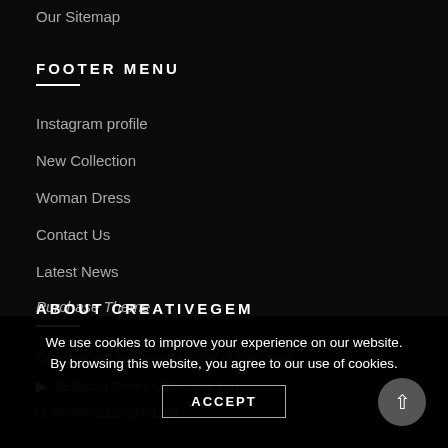Our Sitemap
FOOTER MENU
Instagram profile
New Collection
Woman Dress
Contact Us
Latest News
Purchase Theme
ABOUT CREATIVEGEM
CreativeGem is a global retailer of fine gems.
85 Broad Street, USA, New York
Phone: 212-299-3199
We use cookies to improve your experience on our website. By browsing this website, you agree to our use of cookies.